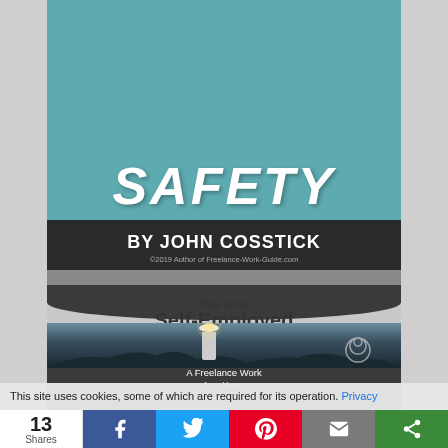[Figure (illustration): Top portion of a book cover showing the word SAFETY in large italic white letters on a teal background, with author section: BY JOHN COSSTICK, ©2019 Author of Freelance-Work-Guide.com]
[Figure (illustration): Book cover for 'How to be Self-Employed: A Freelance Work from Home Guide' by John Cosstick, featuring a lighthouse image on a rocky coast at dusk, with dark header arc and dark footer section]
This site uses cookies, some of which are required for its operation. Privacy
13 Shares